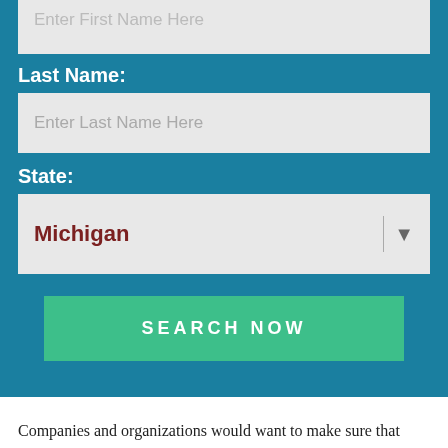Enter First Name Here
Last Name:
Enter Last Name Here
State:
Michigan
SEARCH NOW
Companies and organizations would want to make sure that nobody within their jurisdiction has been into police custody or had police complaints in the past. On